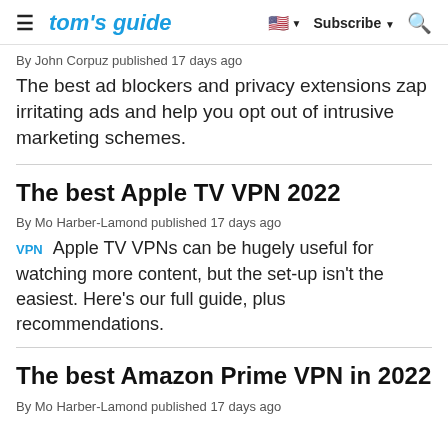tom's guide | Subscribe
By John Corpuz published 17 days ago
The best ad blockers and privacy extensions zap irritating ads and help you opt out of intrusive marketing schemes.
The best Apple TV VPN 2022
By Mo Harber-Lamond published 17 days ago
VPN  Apple TV VPNs can be hugely useful for watching more content, but the set-up isn't the easiest. Here's our full guide, plus recommendations.
The best Amazon Prime VPN in 2022
By Mo Harber-Lamond published 17 days ago